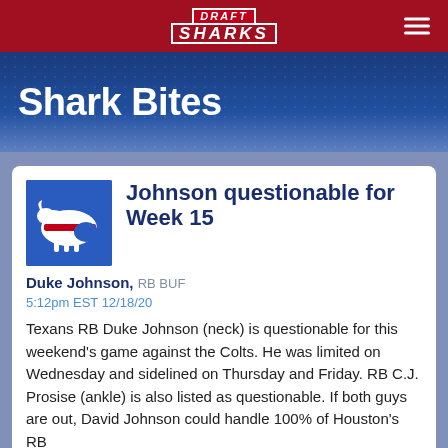DRAFT SHARKS
Shark Bites
Johnson questionable for Week 15
Duke Johnson, RB BUF
5:12pm EST 12/18/20
Texans RB Duke Johnson (neck) is questionable for this weekend's game against the Colts. He was limited on Wednesday and sidelined on Thursday and Friday. RB C.J. Prosise (ankle) is also listed as questionable. If both guys are out, David Johnson could handle 100% of Houston's RB